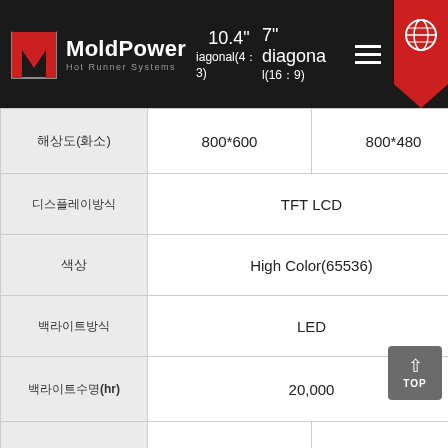MoldPower Hot Runner Systems — 10.4" diagonal(4:3) / 7" diagonal(16:9)
| 항목(단위) | 10.4" diagonal(4:3) | 7" diagonal(16:9) |
| --- | --- | --- |
| 해상도(화소) | 800*600 | 800*480 |
| 디스플레이방식 | TFT LCD | TFT LCD |
| 색상 | High Color(65536) | High Color(65536) |
| 백라이트방식 | LED | LED |
| 백라이트수명(hr) | 20,000 | 20,000 |
| 휘도 | 400(Typ.) | 500(Typ.) |
| 휘도 (cd/m2) | 400(Typ.) | 300(Typ.) |
| 터치스크린 | Resistive Touch Screen(analog) | Resistive Touch Screen(analog) |
| 프로세서유형 | RISC ARM 32Bit CPU(ARM926EJ-S@200MHz) | RISC ARM 32Bit CPU(ARM926EJ-S@200MHz) |
| 플래시메모리 | 128K Bytes(Optional: 1M Bytes) | 128K Bytes(Optional: 1M Bytes) |